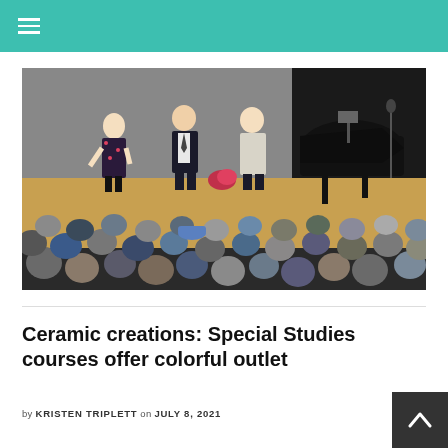[Figure (photo): Concert hall scene showing three people standing on stage near a grand piano, with an audience seated with their backs to the camera in the foreground.]
Ceramic creations: Special Studies courses offer colorful outlet
by KRISTEN TRIPLETT on JULY 8, 2021